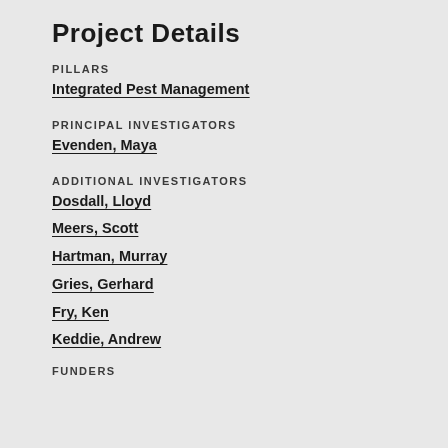Project Details
PILLARS
Integrated Pest Management
PRINCIPAL INVESTIGATORS
Evenden, Maya
ADDITIONAL INVESTIGATORS
Dosdall, Lloyd
Meers, Scott
Hartman, Murray
Gries, Gerhard
Fry, Ken
Keddie, Andrew
FUNDERS